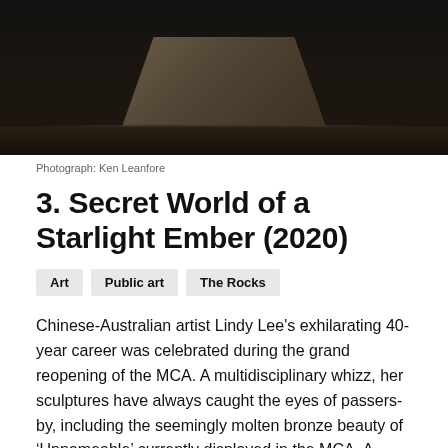[Figure (photo): Dark photograph of a sculptural object on a wooden surface, partially cropped at top of page]
Photograph: Ken Leanfore
3. Secret World of a Starlight Ember (2020)
Art
Public art
The Rocks
Chinese-Australian artist Lindy Lee's exhilarating 40-year career was celebrated during the grand reopening of the MCA. A multidisciplinary whizz, her sculptures have always caught the eyes of passers-by, including the seemingly molten bronze beauty of ‘Unnameable’ currently displayed in the MCA. A brand new work ‘Secret World of a Starlight Ember’ has been installed on the MCA forecourt at Circular